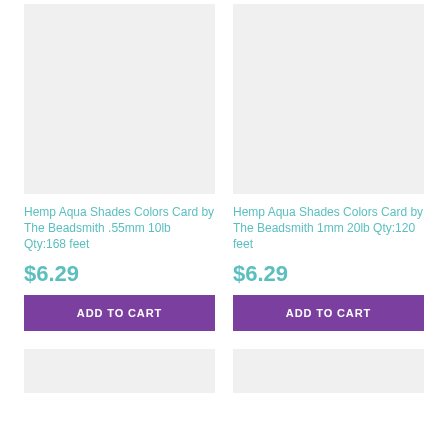[Figure (photo): Product image placeholder (light gray rectangle) for Hemp Aqua Shades Colors Card by The Beadsmith .55mm 10lb]
[Figure (photo): Product image placeholder (light gray rectangle) for Hemp Aqua Shades Colors Card by The Beadsmith 1mm 20lb]
Hemp Aqua Shades Colors Card by The Beadsmith .55mm 10lb Qty:168 feet
$6.29
ADD TO CART
Hemp Aqua Shades Colors Card by The Beadsmith 1mm 20lb Qty:120 feet
$6.29
ADD TO CART
[Figure (photo): Product image placeholder (light gray rectangle), partially visible at bottom left]
[Figure (photo): Product image placeholder (light gray rectangle), partially visible at bottom right]